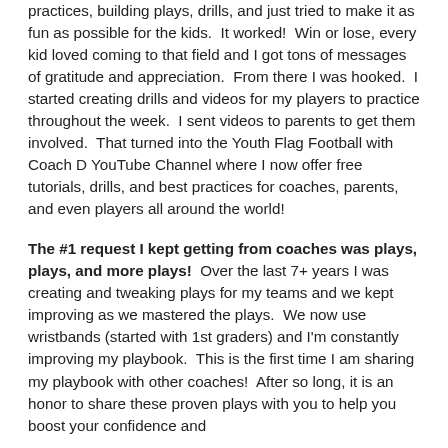practices, building plays, drills, and just tried to make it as fun as possible for the kids.  It worked!  Win or lose, every kid loved coming to that field and I got tons of messages of gratitude and appreciation.  From there I was hooked.  I started creating drills and videos for my players to practice throughout the week.  I sent videos to parents to get them involved.  That turned into the Youth Flag Football with Coach D YouTube Channel where I now offer free tutorials, drills, and best practices for coaches, parents, and even players all around the world!
The #1 request I kept getting from coaches was plays, plays, and more plays!  Over the last 7+ years I was creating and tweaking plays for my teams and we kept improving as we mastered the plays.  We now use wristbands (started with 1st graders) and I'm constantly improving my playbook.  This is the first time I am sharing my playbook with other coaches!  After so long, it is an honor to share these proven plays with you to help you boost your confidence and